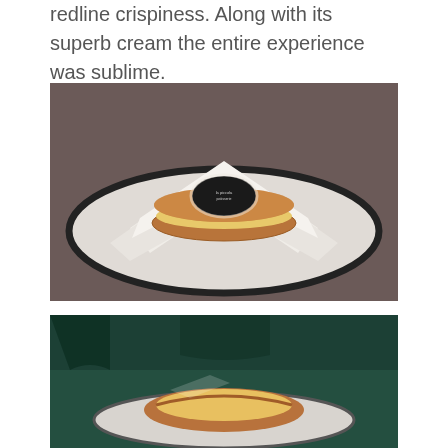redline crispiness. Along with its superb cream the entire experience was sublime.
[Figure (photo): A layered pastry/millefeuille dessert on a white plate with tissue paper, topped with a black circular label, served on a dark plate on a mauve table.]
[Figure (photo): A pastry tart or pie on a plate, photographed against a green background, partially cropped at bottom.]